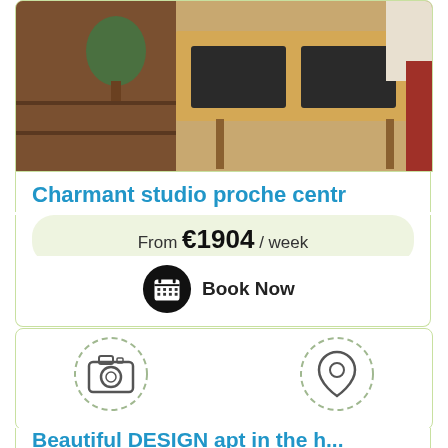[Figure (photo): Photo of a wooden desk/table with dark placemats in a studio apartment]
Charmant studio proche centr
From €1904 / week
Book Now
[Figure (illustration): Two dashed circle icons: camera icon on left, location pin icon on right, with empty image placeholder area]
Beautiful DESIGN apt in the h...